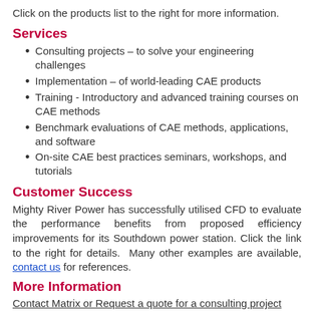Click on the products list to the right for more information.
Services
Consulting projects – to solve your engineering challenges
Implementation – of world-leading CAE products
Training - Introductory and advanced training courses on CAE methods
Benchmark evaluations of CAE methods, applications, and software
On-site CAE best practices seminars, workshops, and tutorials
Customer Success
Mighty River Power has successfully utilised CFD to evaluate the performance benefits from proposed efficiency improvements for its Southdown power station. Click the link to the right for details.  Many other examples are available, contact us for references.
More Information
Contact Matrix or Request a quote for a consulting project
Professional Affiliations include: